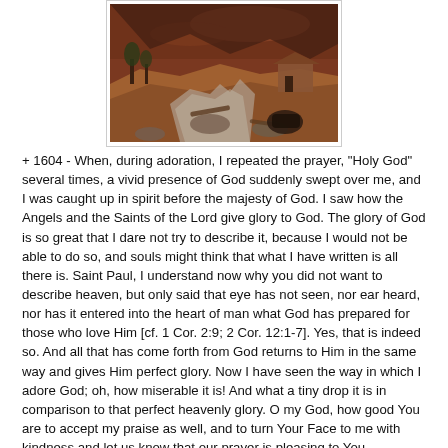[Figure (illustration): A painted landscape scene showing rocky terrain, a stream or river, sparse trees, and a building structure under a dramatic reddish-brown sky.]
+ 1604 - When, during adoration, I repeated the prayer, "Holy God" several times, a vivid presence of God suddenly swept over me, and I was caught up in spirit before the majesty of God. I saw how the Angels and the Saints of the Lord give glory to God. The glory of God is so great that I dare not try to describe it, because I would not be able to do so, and souls might think that what I have written is all there is. Saint Paul, I understand now why you did not want to describe heaven, but only said that eye has not seen, nor ear heard, nor has it entered into the heart of man what God has prepared for those who love Him [cf. 1 Cor. 2:9; 2 Cor. 12:1-7]. Yes, that is indeed so. And all that has come forth from God returns to Him in the same way and gives Him perfect glory. Now I have seen the way in which I adore God; oh, how miserable it is! And what a tiny drop it is in comparison to that perfect heavenly glory. O my God, how good You are to accept my praise as well, and to turn Your Face to me with kindness and let us know that our prayer is pleasing to You.